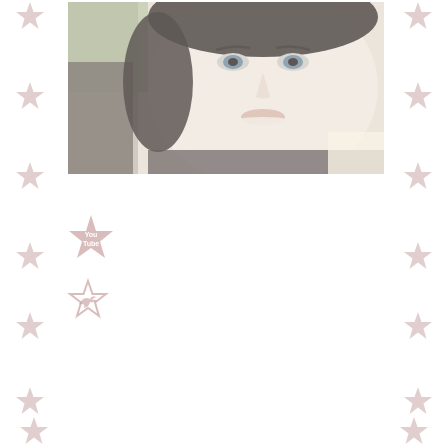[Figure (photo): Close-up photo of a woman's face with dark short hair and blue eyes, taken in a car or near a window with greenery visible in the background. The image has a washed-out, slightly overexposed appearance.]
[Figure (logo): YouTube star/badge logo icon in pinkish-grey color with 'You Tube' text inside a star shape]
[Figure (logo): Twitter bird logo rendered as a small star/bird outline icon in pinkish-grey color]